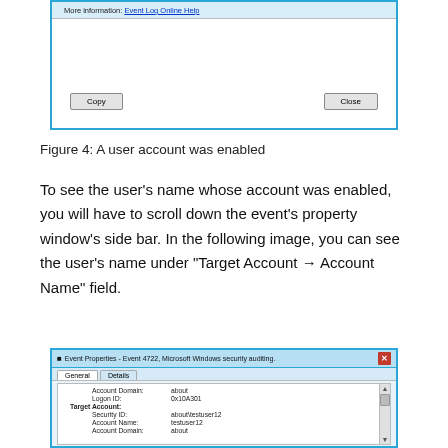[Figure (screenshot): Windows Event Properties dialog showing top portion with More information link (Event Log Online Help), and Copy/Close buttons at bottom]
Figure 4: A user account was enabled
To see the user’s name whose account was enabled, you will have to scroll down the event’s property window’s side bar. In the following image, you can see the user’s name under “Target Account → Account Name” field.
[Figure (screenshot): Event Properties - Event 4722, Microsoft Windows security auditing dialog showing General and Details tabs, with fields: Account Domain: about, Logon ID: 0x10A301, Target Account: Security ID: about\testuser12, Account Name: testuser12, Account Domain: about]